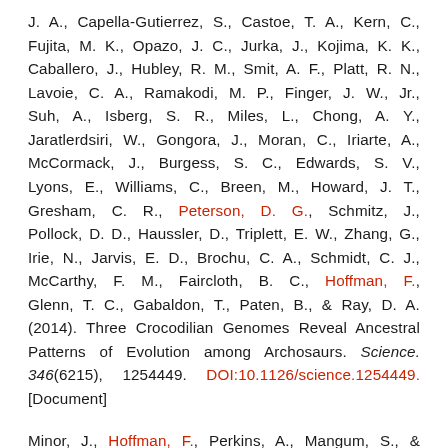J. A., Capella-Gutierrez, S., Castoe, T. A., Kern, C., Fujita, M. K., Opazo, J. C., Jurka, J., Kojima, K. K., Caballero, J., Hubley, R. M., Smit, A. F., Platt, R. N., Lavoie, C. A., Ramakodi, M. P., Finger, J. W., Jr., Suh, A., Isberg, S. R., Miles, L., Chong, A. Y., Jaratlerdsiri, W., Gongora, J., Moran, C., Iriarte, A., McCormack, J., Burgess, S. C., Edwards, S. V., Lyons, E., Williams, C., Breen, M., Howard, J. T., Gresham, C. R., Peterson, D. G., Schmitz, J., Pollock, D. D., Haussler, D., Triplett, E. W., Zhang, G., Irie, N., Jarvis, E. D., Brochu, C. A., Schmidt, C. J., McCarthy, F. M., Faircloth, B. C., Hoffman, F., Glenn, T. C., Gabaldon, T., Paten, B., & Ray, D. A. (2014). Three Crocodilian Genomes Reveal Ancestral Patterns of Evolution among Archosaurs. Science. 346(6215), 1254449. DOI:10.1126/science.1254449. [Document]
Minor, J., Hoffman, F., Perkins, A., Mangum, S., & Vandewege, M. (2013). Evolutionary Opsin